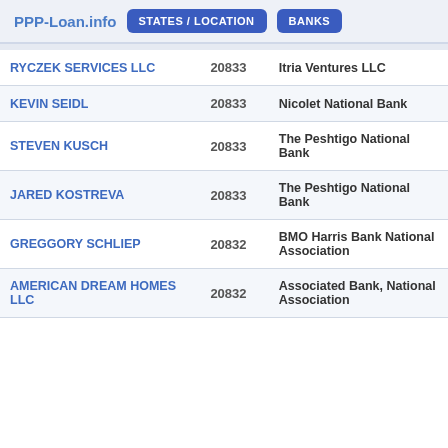PPP-Loan.info  STATES / LOCATION  BANKS
| Name | Zip | Bank |
| --- | --- | --- |
| RYCZEK SERVICES LLC | 20833 | Itria Ventures LLC |
| KEVIN SEIDL | 20833 | Nicolet National Bank |
| STEVEN KUSCH | 20833 | The Peshtigo National Bank |
| JARED KOSTREVA | 20833 | The Peshtigo National Bank |
| GREGGORY SCHLIEP | 20832 | BMO Harris Bank National Association |
| AMERICAN DREAM HOMES LLC | 20832 | Associated Bank, National Association |